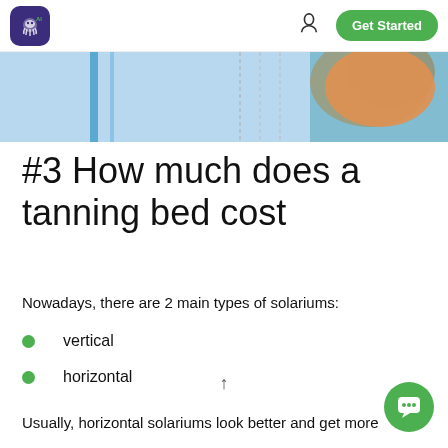Get Started
[Figure (photo): Partial view of a tanning bed with blue and white panels and a person's shoulder visible]
#3 How much does a tanning bed cost
Nowadays, there are 2 main types of solariums:
vertical
horizontal
Usually, horizontal solariums look better and get more attention, but they will also be more expensive possible